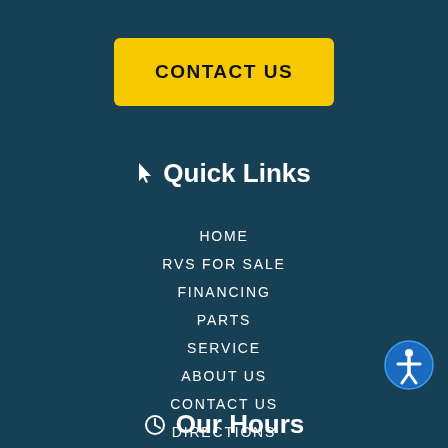CONTACT US
Quick Links
HOME
RVS FOR SALE
FINANCING
PARTS
SERVICE
ABOUT US
CONTACT US
DIRECTIONS
Our Hours